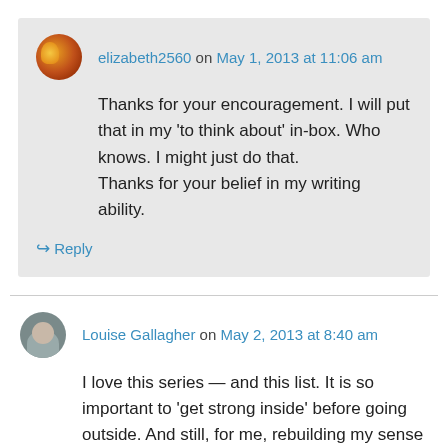elizabeth2560 on May 1, 2013 at 11:06 am
Thanks for your encouragement. I will put that in my ‘to think about’ in-box. Who knows. I might just do that.
Thanks for your belief in my writing ability.
↳ Reply
Louise Gallagher on May 2, 2013 at 8:40 am
I love this series — and this list. It is so important to ‘get strong inside’ before going outside. And still, for me, rebuilding my sense of self came from volunteering, from consciously giving back. In that act, i found myself again. I think your list